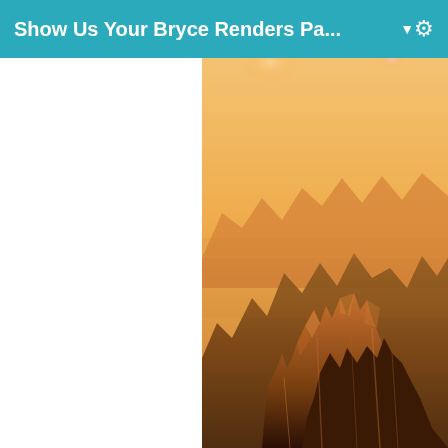Show Us Your Bryce Renders Pa...
[Figure (photo): A Bryce 3D render of jagged rocky mountain peaks in warm orange/golden tones with a hazy amber sky. The terrain shows sharp spires and textured rock surfaces lit with warm sunset-like lighting. The image occupies the right portion of the page.]